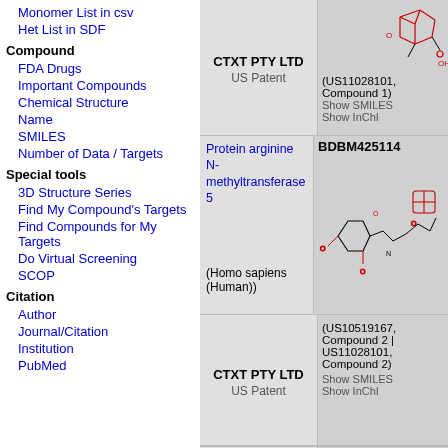Monomer List in csv
Het List in SDF
Compound
FDA Drugs
Important Compounds
Chemical Structure
Name
SMILES
Number of Data / Targets
Special tools
3D Structure Series
Find My Compound's Targets
Find Compounds for My Targets
Do Virtual Screening
SCOP
Citation
Author
Journal/Citation
Institution
PubMed
| Target | Source | Compound ID | Structure |
| --- | --- | --- | --- |
|  | CTXT PTY LTD
US Patent | (US11028101, Compound 1)
Show SMILES
Show InChI | (molecule image) |
| Protein arginine N-methyltransferase 5
(Homo sapiens (Human)) |  | BDBM425114 | (molecule image) |
|  | CTXT PTY LTD
US Patent | (US10519167, Compound 2 | US11028101, Compound 2)
Show SMILES
Show InChI | (molecule image) |
| Protein arginine N-methyltransferase 5 |  | BDBM425115 | (molecule image) |